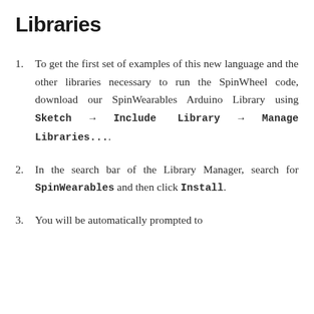Libraries
To get the first set of examples of this new language and the other libraries necessary to run the SpinWheel code, download our SpinWearables Arduino Library using Sketch → Include Library → Manage Libraries....
In the search bar of the Library Manager, search for SpinWearables and then click Install.
You will be automatically prompted to